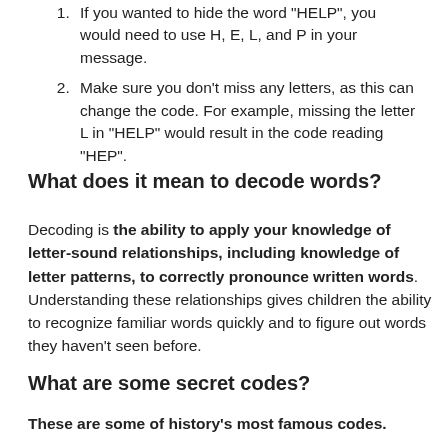If you wanted to hide the word "HELP", you would need to use H, E, L, and P in your message.
Make sure you don't miss any letters, as this can change the code. For example, missing the letter L in "HELP" would result in the code reading "HEP".
What does it mean to decode words?
Decoding is the ability to apply your knowledge of letter-sound relationships, including knowledge of letter patterns, to correctly pronounce written words. Understanding these relationships gives children the ability to recognize familiar words quickly and to figure out words they haven't seen before.
What are some secret codes?
These are some of history's most famous codes.